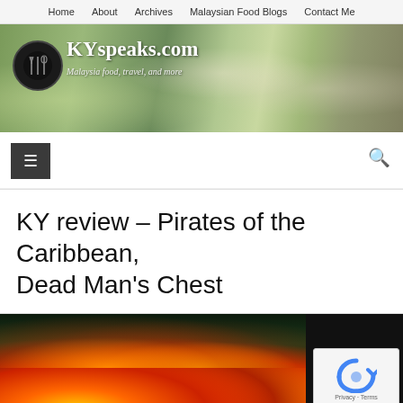Home   About   Archives   Malaysian Food Blogs   Contact Me
[Figure (illustration): KYspeaks.com blog header banner with logo circle, site name and subtitle 'Malaysia food, travel, and more', with food background image showing leafy greens and sliced food]
[Figure (screenshot): Mobile hamburger menu button (dark square with three lines) on left and search icon on right]
KY review – Pirates of the Caribbean, Dead Man's Chest
[Figure (photo): Article image showing dramatic fire/flames against a dark green background, occupying left portion of the image area. reCAPTCHA widget visible in bottom right corner.]